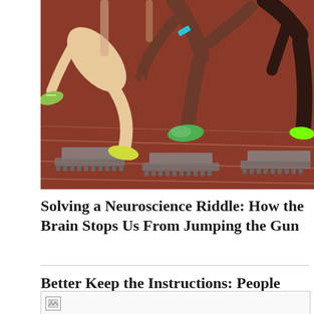[Figure (photo): Athletes at starting blocks on a running track, crouching in starting position, wearing colorful running shoes (green and yellow), on a red clay track surface.]
Solving a Neuroscience Riddle: How the Brain Stops Us From Jumping the Gun
Better Keep the Instructions: People Aren't That Good at Solving Complex Problems
[Figure (photo): Partially visible image placeholder at the bottom of the page.]